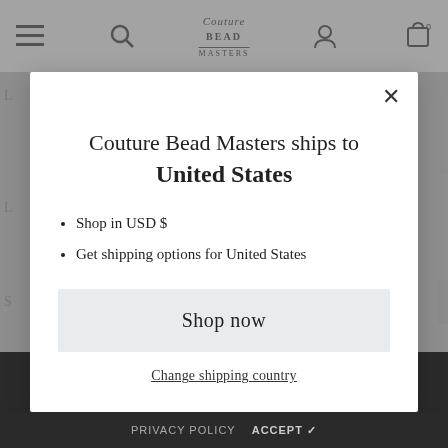[Figure (screenshot): Website header with hamburger menu icon, search icon, Couture Bead Masters logo, user icon, and cart icon with 0 count, on a light grey background]
Couture Bead Masters ships to United States
Shop in USD $
Get shipping options for United States
Shop now
Change shipping country
PRIVACY POLICY   ACCEPT ✓